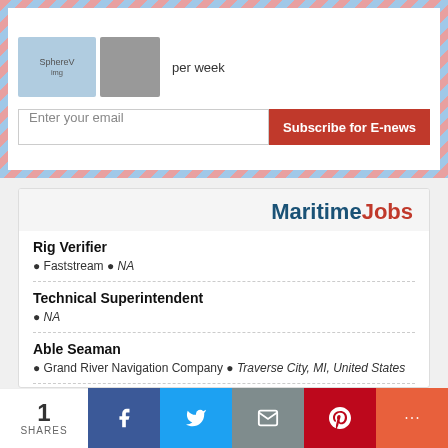[Figure (screenshot): Email newsletter signup banner with airmail-style border. Shows 'per week' text, two small images, an email input field, and a red 'Subscribe for E-news' button.]
per week
Enter your email
Subscribe for E-news
[Figure (logo): MaritimeJobs logo in dark blue and red bold text]
Rig Verifier
● Faststream ● NA
Technical Superintendent
● NA
Able Seaman
● Grand River Navigation Company ● Traverse City, MI, United States
1st Assistant Engineer
● Grand River Navigation Company ● Traverse City, MI, United States
Second Cook
1 SHARES